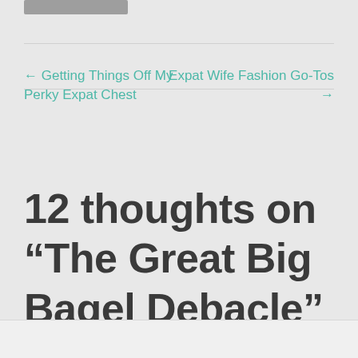[Figure (other): Partially visible grey bar/banner at the top of the page]
← Getting Things Off My Perky Expat Chest
Expat Wife Fashion Go-Tos →
12 thoughts on “The Great Big Bagel Debacle”
Stella M...